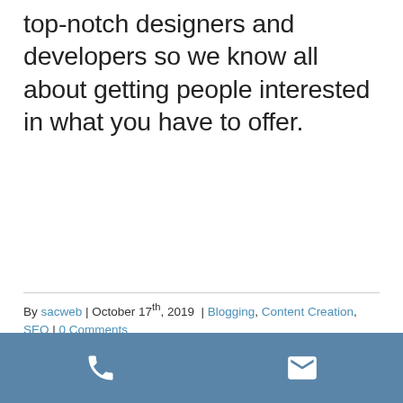top-notch designers and developers so we know all about getting people interested in what you have to offer.
By sacweb | October 17th, 2019 | Blogging, Content Creation, SEO | 0 Comments